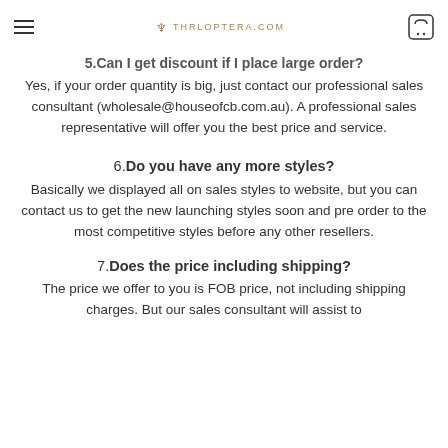THRLOPTERA.COM
5. Can I get discount if I place large order?
Yes, if your order quantity is big, just contact our professional sales consultant (wholesale@houseofcb.com.au). A professional sales representative will offer you the best price and service.
6. Do you have any more styles?
Basically we displayed all on sales styles to website, but you can contact us to get the new launching styles soon and pre order to the most competitive styles before any other resellers.
7. Does the price including shipping?
The price we offer to you is FOB price, not including shipping charges. But our sales consultant will assist to